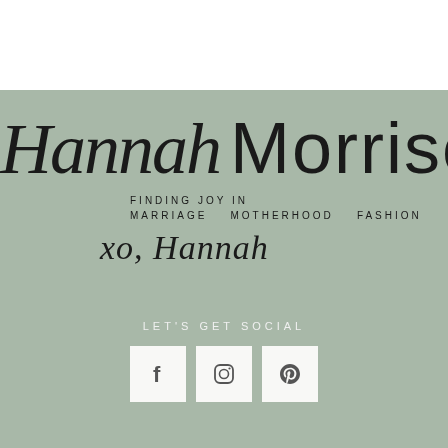Hannah Morrison
FINDING JOY IN
MARRIAGE   MOTHERHOOD   FASHION
xo, Hannah
LET'S GET SOCIAL
[Figure (illustration): Three social media icon boxes: Facebook (f), Instagram (camera), Pinterest (P)]